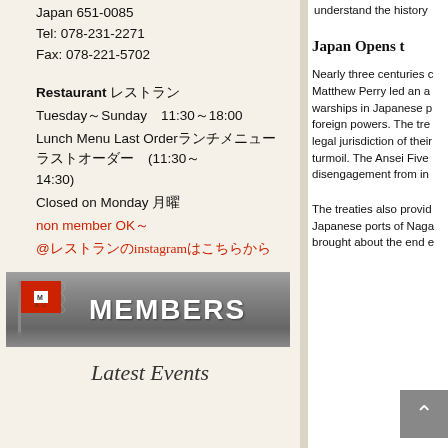Japan 651-0085
Tel: 078-231-2271
Fax: 078-221-5702
Restaurant レストラン
Tuesday～Sunday　11:30～18:00
Lunch Menu Last Orderランチメニュー ラストオーダー (11:30～14:30)
Closed on Monday 月曜
non member OK～
@レストランのinstagramはこちらから
[Figure (other): MEMBERS banner with red and white checkered flag logo]
Latest Events
understand the history
Japan Opens t
Nearly three centuries c Matthew Perry led an a warships in Japanese p foreign powers. The tre legal jurisdiction of their turmoil. The Ansei Five disengagement from in
The treaties also provid Japanese ports of Naga brought about the end e